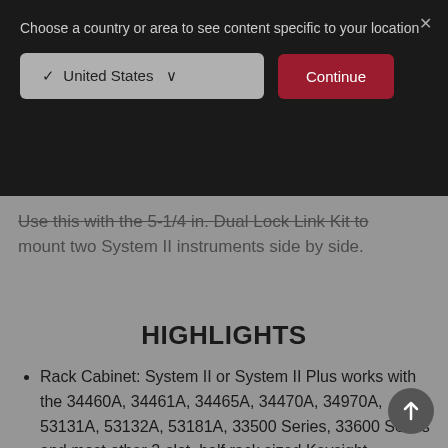Choose a country or area to see content specific to your location
Use this with the 5-1/4 in. Dual Lock Link Kit to mount two System II instruments side by side.
HIGHLIGHTS
Rack Cabinet: System II or System II Plus works with the 34460A, 34461A, 34465A, 34470A, 34970A, 53131A, 53132A, 53181A, 33500 Series, 33600 Series and most other 2-slot, half rack sized Keysight products.